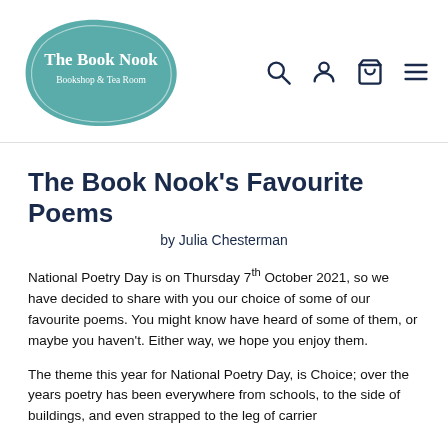[Figure (logo): The Book Nook logo: teal rounded badge shape with white text 'The Book Nook' and subtitle 'Bookshop & Tea Room']
The Book Nook's Favourite Poems
by Julia Chesterman
National Poetry Day is on Thursday 7th October 2021, so we have decided to share with you our choice of some of our favourite poems. You might know have heard of some of them, or maybe you haven't. Either way, we hope you enjoy them.
The theme this year for National Poetry Day, is Choice; over the years poetry has been everywhere from schools, to the side of buildings, and even strapped to the leg of carrier